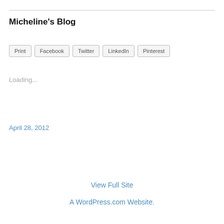Micheline's Blog
Print  Facebook  Twitter  LinkedIn  Pinterest
Loading...
April 28, 2012
View Full Site
A WordPress.com Website.